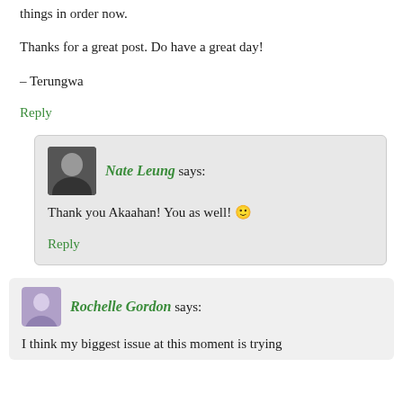things in order now.
Thanks for a great post. Do have a great day!
– Terungwa
Reply
Nate Leung says:
Thank you Akaahan! You as well! 🙂
Reply
Rochelle Gordon says:
I think my biggest issue at this moment is trying